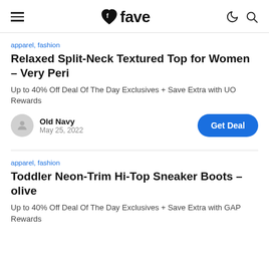fave
apparel, fashion
Relaxed Split-Neck Textured Top for Women – Very Peri
Up to 40% Off Deal Of The Day Exclusives + Save Extra with UO Rewards
Old Navy
May 25, 2022
apparel, fashion
Toddler Neon-Trim Hi-Top Sneaker Boots – olive
Up to 40% Off Deal Of The Day Exclusives + Save Extra with GAP Rewards